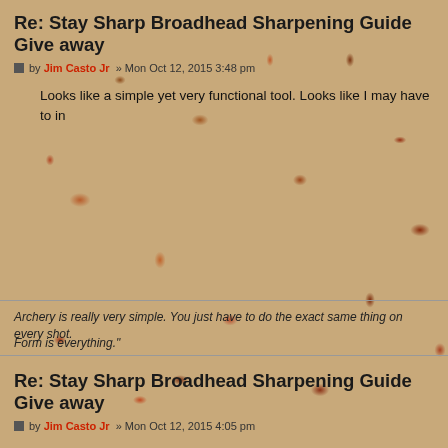Re: Stay Sharp Broadhead Sharpening Guide Give away
by Jim Casto Jr » Mon Oct 12, 2015 3:48 pm
Looks like a simple yet very functional tool. Looks like I may have to in
Archery is really very simple. You just have to do the exact same thing on every shot.
Form is everything."
Re: Stay Sharp Broadhead Sharpening Guide Give away
by Jim Casto Jr » Mon Oct 12, 2015 4:05 pm
Couldn't take it, had to order one. Stay tuned for a product review--pr